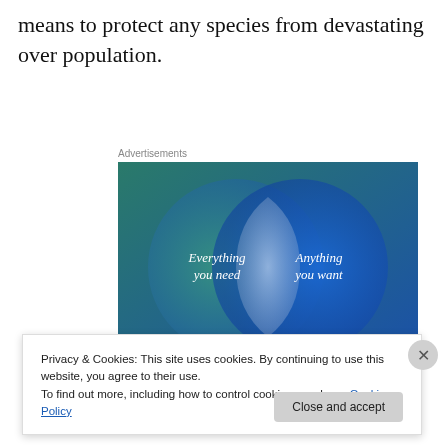means to protect any species from devastating over population.
Advertisements
[Figure (infographic): Venn diagram advertisement with two overlapping circles on a blue/teal gradient background. Left circle (teal/green) labeled 'Everything you need', right circle (blue) labeled 'Anything you want', overlapping region shown in lighter blue/white.]
Privacy & Cookies: This site uses cookies. By continuing to use this website, you agree to their use.
To find out more, including how to control cookies, see here: Cookie Policy